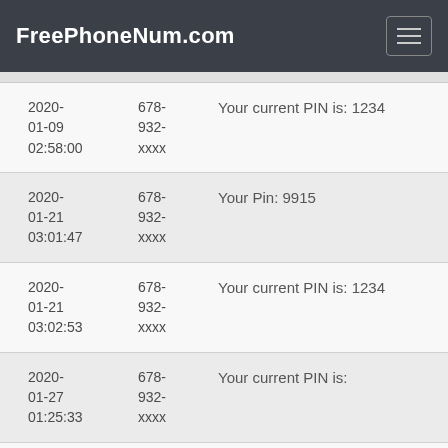FreePhoneNum.com
| Date/Time | Phone | Message |
| --- | --- | --- |
| 2020-01-09 02:58:00 | 678-932-xxxx | Your current PIN is: 1234 |
| 2020-01-21 03:01:47 | 678-932-xxxx | Your Pin: 9915 |
| 2020-01-21 03:02:53 | 678-932-xxxx | Your current PIN is: 1234 |
| 2020-01-27 01:25:33 | 678-932-xxxx | Your current PIN is: |
| 2020-01-27 01:31:12 | 678-932-xxxx | Your current PIN is: 1234 |
| 2020-01-27 | 678-932- | Your One-time PIN is: 912103 |